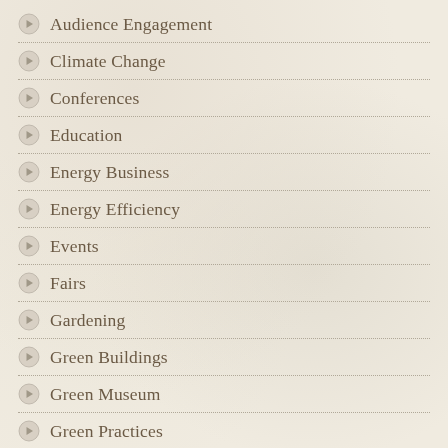Audience Engagement
Climate Change
Conferences
Education
Energy Business
Energy Efficiency
Events
Fairs
Gardening
Green Buildings
Green Museum
Green Practices
Green Product
Indoor Air Quality
Lighting